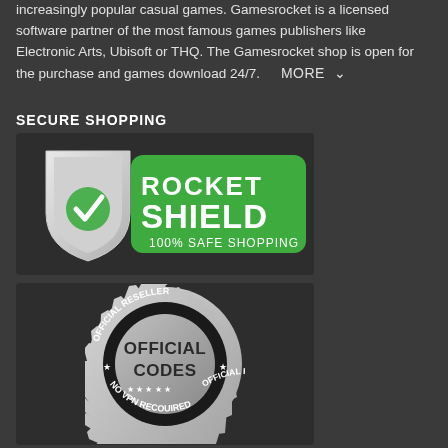increasingly popular casual games. Gamesrocket is a licensed software partner of the most famous games publishers like Electronic Arts, Ubisoft or THQ. The Gamesrocket shop is open for the purchase and games download 24/7.   MORE ˅
SECURE SHOPPING
[Figure (logo): Rocket Shield logo with green shield icon and checkmark, text reading ROCKET SHIELD 100% SAFE SHOPPING on green background]
[Figure (logo): Official Reseller badge - silver gear/seal with black center, text OFFICIAL CODES, OFFICIAL RESELLER, NO VPN REQUIRED with stars]